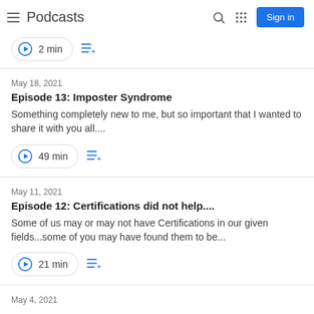Podcasts
2 min
May 18, 2021
Episode 13: Imposter Syndrome
Something completely new to me, but so important that I wanted to share it with you all....
49 min
May 11, 2021
Episode 12: Certifications did not help....
Some of us may or may not have Certifications in our given fields...some of you may have found them to be...
21 min
May 4, 2021